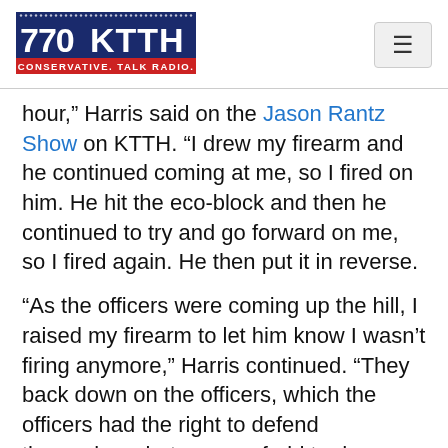770 KTTH — CONSERVATIVE. TALK RADIO.
hour,” Harris said on the Jason Rantz Show on KTTH. “I drew my firearm and he continued coming at me, so I fired on him. He hit the eco-block and then he continued to try and go forward on me, so I fired again. He then put it in reverse.
“As the officers were coming up the hill, I raised my firearm to let him know I wasn’t firing anymore,” Harris continued. “They back down on the officers, which the officers had the right to defend themselves, but are so afraid to do so with the current climate, and